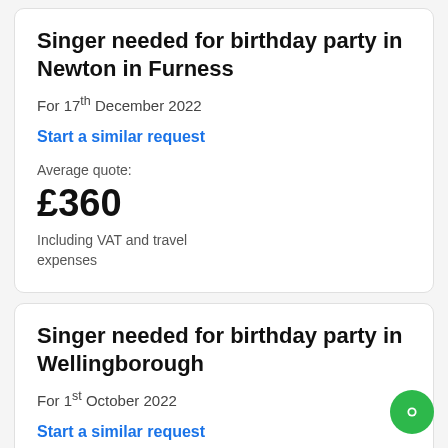Singer needed for birthday party in Newton in Furness
For 17th December 2022
Start a similar request
Average quote:
£360
Including VAT and travel expenses
Singer needed for birthday party in Wellingborough
For 1st October 2022
Start a similar request